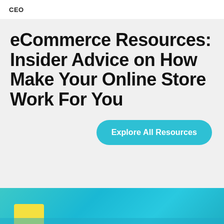CEO
eCommerce Resources: Insider Advice on How Make Your Online Store Work For You
Explore All Resources
[Figure (photo): Colorful teal/cyan background image with a yellow element visible at the bottom of the page]